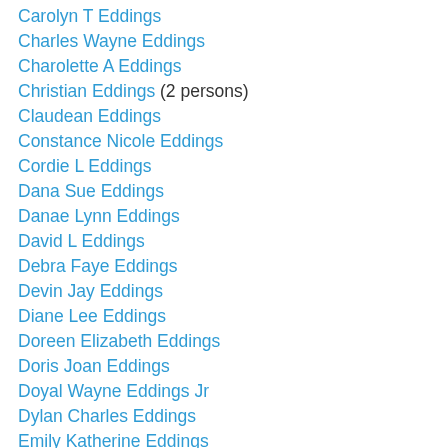Carolyn T Eddings
Charles Wayne Eddings
Charolette A Eddings
Christian Eddings (2 persons)
Claudean Eddings
Constance Nicole Eddings
Cordie L Eddings
Dana Sue Eddings
Danae Lynn Eddings
David L Eddings
Debra Faye Eddings
Devin Jay Eddings
Diane Lee Eddings
Doreen Elizabeth Eddings
Doris Joan Eddings
Doyal Wayne Eddings Jr
Dylan Charles Eddings
Emily Katherine Eddings